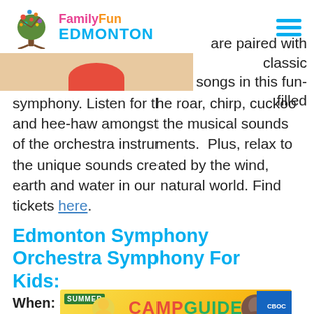[Figure (logo): FamilyFun Edmonton logo with colorful tree illustration and text]
[Figure (photo): Partial cropped image showing a red circular shape on a tan/beige background]
are paired with classic songs in this fun-filled symphony. Listen for the roar, chirp, cuckoo and hee-haw amongst the musical sounds of the orchestra instruments.  Plus, relax to the unique sounds created by the wind, earth and water in our natural world. Find tickets here.
Edmonton Symphony Orchestra Symphony For Kids:
When: Sun
[Figure (infographic): Summer Camp Guide advertisement banner with colorful text and imagery]